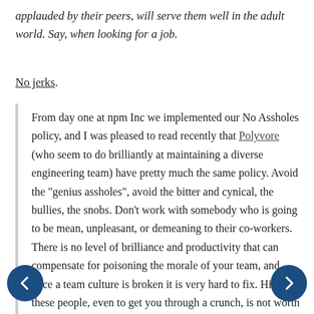applauded by their peers, will serve them well in the adult world. Say, when looking for a job.
No jerks.
From day one at npm Inc we implemented our No Assholes policy, and I was pleased to read recently that Polyvore (who seem to do brilliantly at maintaining a diverse engineering team) have pretty much the same policy. Avoid the "genius assholes", avoid the bitter and cynical, the bullies, the snobs. Don't work with somebody who is going to be mean, unpleasant, or demeaning to their co-workers. There is no level of brilliance and productivity that can compensate for poisoning the morale of your team, and once a team culture is broken it is very hard to fix. Hiring these people, even to get you through a crunch, is not worth what it costs. And if you hire one by mistake, fire them